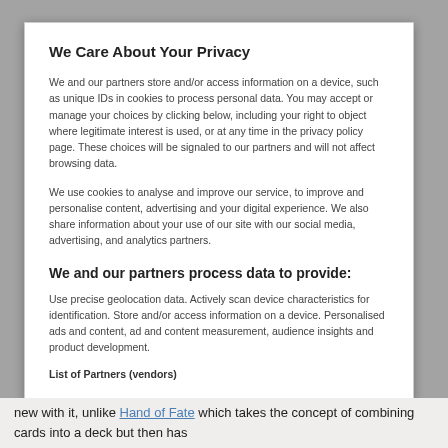We Care About Your Privacy
We and our partners store and/or access information on a device, such as unique IDs in cookies to process personal data. You may accept or manage your choices by clicking below, including your right to object where legitimate interest is used, or at any time in the privacy policy page. These choices will be signaled to our partners and will not affect browsing data.
We use cookies to analyse and improve our service, to improve and personalise content, advertising and your digital experience. We also share information about your use of our site with our social media, advertising, and analytics partners.
We and our partners process data to provide:
Use precise geolocation data. Actively scan device characteristics for identification. Store and/or access information on a device. Personalised ads and content, ad and content measurement, audience insights and product development.
List of Partners (vendors)
new with it, unlike Hand of Fate which takes the concept of combining cards into a deck but then has